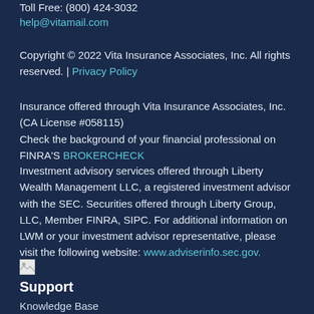Toll Free: (800) 424-3032
help@vitamail.com
Copyright © 2022 Vita Insurance Associates, Inc. All rights reserved. | Privacy Policy
Insurance offered through Vita Insurance Associates, Inc. (CA License #058115)
Check the background of your financial professional on FINRA'S BROKERCHECK
Investment advisory services offered through Liberty Wealth Management LLC, a registered investment advisor with the SEC. Securities offered through Liberty Group, LLC, Member FINRA, SIPC. For additional information on LWM or your investment advisor representative, please visit the following website: www.adviserinfo.sec.gov.
[Figure (illustration): Small broken/placeholder image icon]
Support
Knowledge Base